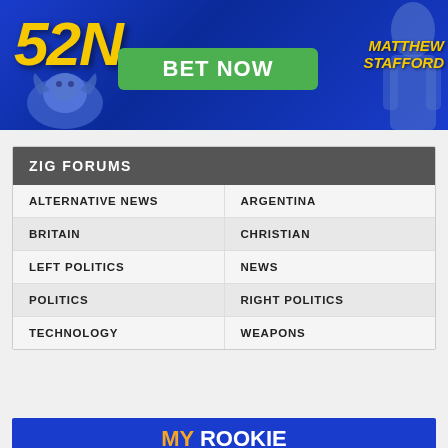[Figure (photo): Sports betting advertisement banner with blue background, '52N' logo in yellow, a ram mascot, a green 'BET NOW' button, and text 'MATTHEW STAFFORD' in yellow italic]
| ZIG FORUMS |  |
| --- | --- |
| ALTERNATIVE NEWS | ARGENTINA |
| BRITAIN | CHRISTIAN |
| LEFT POLITICS | NEWS |
| POLITICS | RIGHT POLITICS |
| TECHNOLOGY | WEAPONS |
[Figure (photo): MyRookie sports betting advertisement banner with blue background and orange/white text]